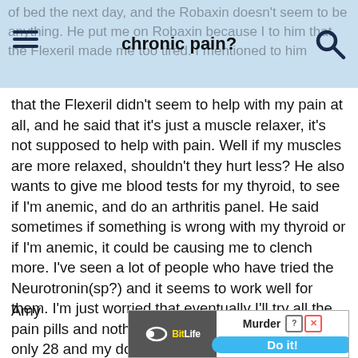chronic pain?
that the Flexeril didn't seem to help with my pain at all, and he said that it's just a muscle relaxer, it's not supposed to help with pain. Well if my muscles are more relaxed, shouldn't they hurt less? He also wants to give me blood tests for my thyroid, to see if I'm anemic, and do an arthritis panel. He said sometimes if something is wrong with my thyroid or if I'm anemic, it could be causing me to clench more. I've seen a lot of people who have tried the Neurotronin(sp?) and it seems to work well for them. I'm just worried that eventually I'll try all the pain pills and nothing will work for me anymore. I'm only 28 and my doctor said my condition is chronic. I don't know what to do if that happens.
Amy
[Figure (screenshot): BitLife advertisement banner with 'Murder Do it!' call to action]